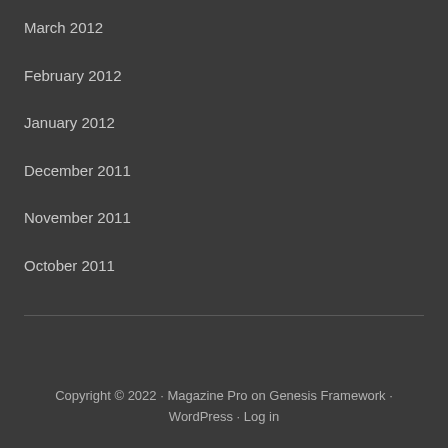March 2012
February 2012
January 2012
December 2011
November 2011
October 2011
Copyright © 2022 · Magazine Pro on Genesis Framework · WordPress · Log in